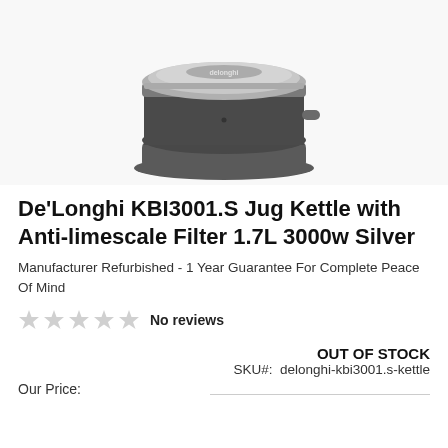[Figure (photo): De'Longhi KBI3001.S jug kettle in silver and dark grey, viewed from above/side, showing the circular base and lid with De'Longhi logo]
De'Longhi KBI3001.S Jug Kettle with Anti-limescale Filter 1.7L 3000w Silver
Manufacturer Refurbished - 1 Year Guarantee For Complete Peace Of Mind
No reviews
OUT OF STOCK
SKU#:  delonghi-kbi3001.s-kettle
Our Price: